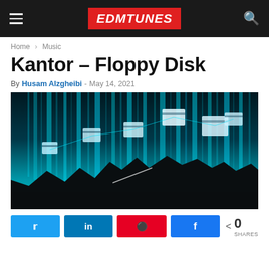EDMTUNES
Home > Music
Kantor – Floppy Disk
By Husam Alzgheibi - May 14, 2021
[Figure (photo): Digital futuristic landscape with glowing cyan vertical light streaks and floating rectangular shapes resembling floppy disks or files over a dark mountainous silhouette]
Tweet  in  Share  Share  < 0  SHARES